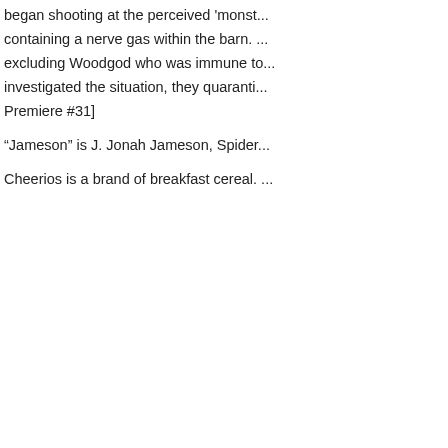began shooting at the perceived 'monst... containing a nerve gas within the barn. ... excluding Woodgod who was immune to... investigated the situation, they quaranti... Premiere #31]
“Jameson” is J. Jonah Jameson, Spider...
Cheerios is a brand of breakfast cereal.
Issue Information:
Written By: Mesmerizer.
Marvel T...
UXN Home | Comics | Cerebro Files | United We Stand | X-Universe |
This is an unofficial fan site. It is not sponsored, licensed, or approved by M... registered trader... All original content Copyright © 2000 - 2022 uncanny...